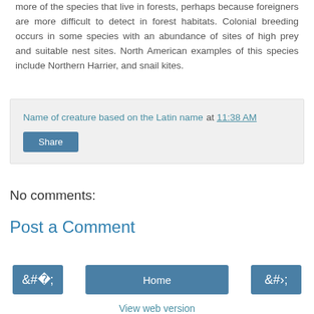more of the species that live in forests, perhaps because foreigners are more difficult to detect in forest habitats. Colonial breeding occurs in some species with an abundance of sites of high prey and suitable nest sites. North American examples of this species include Northern Harrier, and snail kites.
Name of creature based on the Latin name at 11:38 AM
Share
No comments:
Post a Comment
‹
Home
›
View web version
Powered by Blogger.